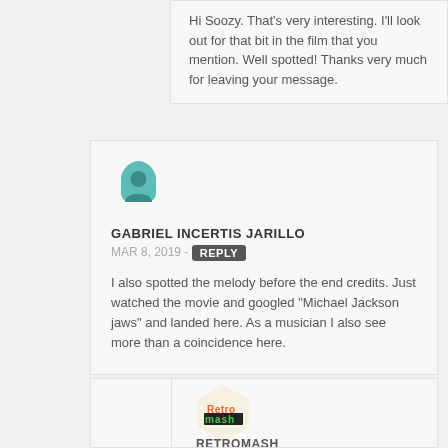Hi Soozy. That's very interesting. I'll look out for that bit in the film that you mention. Well spotted! Thanks very much for leaving your message.
[Figure (illustration): Teal user avatar icon shaped like a house/shield with a person silhouette]
GABRIEL INCERTIS JARILLO
MAR 8, 2019 - REPLY
I also spotted the melody before the end credits. Just watched the movie and googled "Michael Jackson jaws" and landed here. As a musician I also see more than a coincidence here.
[Figure (logo): RetroMash logo — retro-styled text logo with green and black pixelated lettering on a cream hexagon background]
RETROMASH